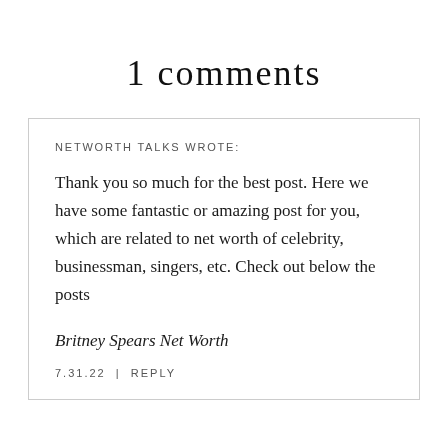1 comments
NETWORTH TALKS WROTE:
Thank you so much for the best post. Here we have some fantastic or amazing post for you, which are related to net worth of celebrity, businessman, singers, etc. Check out below the posts
Britney Spears Net Worth
7.31.22  |  REPLY